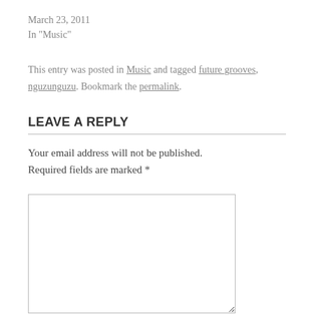March 23, 2011
In "Music"
This entry was posted in Music and tagged future grooves, nguzunguzu. Bookmark the permalink.
LEAVE A REPLY
Your email address will not be published. Required fields are marked *